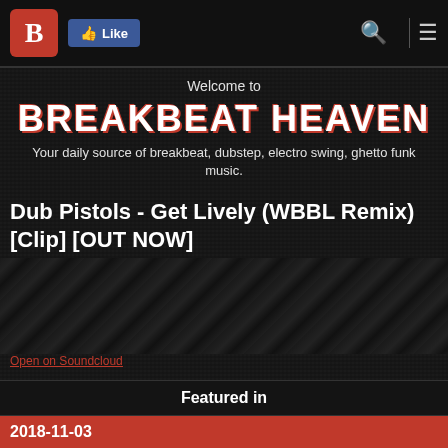B  Like
Welcome to
BREAKBEAT HEAVEN
Your daily source of breakbeat, dubstep, electro swing, ghetto funk music.
Dub Pistols - Get Lively (WBBL Remix) [Clip] [OUT NOW]
[Figure (screenshot): Dark textured background area representing embedded Soundcloud player or video content]
Open on Soundcloud
Featured in
2018-11-03